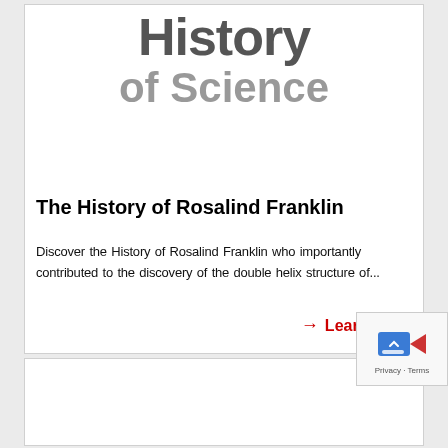History of Science
The History of Rosalind Franklin
Discover the History of Rosalind Franklin who importantly contributed to the discovery of the double helix structure of...
→ Learn more